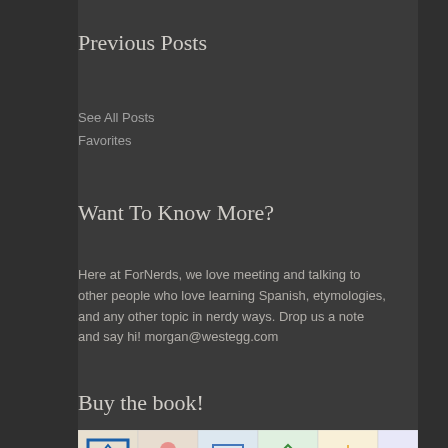Previous Posts
See All Posts
Favorites
Want To Know More?
Here at ForNerds, we love meeting and talking to other people who love learning Spanish, etymologies, and any other topic in nerdy ways. Drop us a note and say hi! morgan@westegg.com
Buy the book!
[Figure (illustration): Decorative colorful Spanish tile pattern mosaic image, followed by a map of Spain with 'LEARN SPANISH' text overlay in bold white and yellow letters]